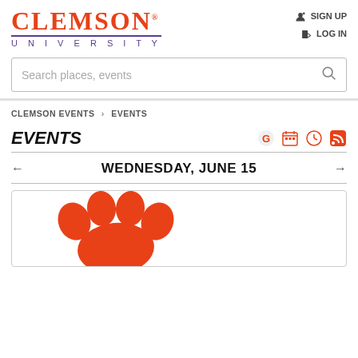[Figure (logo): Clemson University logo with CLEMSON in large orange serif text and UNIVERSITY in purple spaced letters below]
SIGN UP
LOG IN
[Figure (screenshot): Search bar with placeholder text 'Search places, events' and a search icon]
CLEMSON EVENTS › EVENTS
EVENTS
[Figure (infographic): Four orange icons: Google calendar, calendar, clock, RSS feed]
WEDNESDAY, JUNE 15
[Figure (illustration): Clemson University tiger paw print logo in orange]